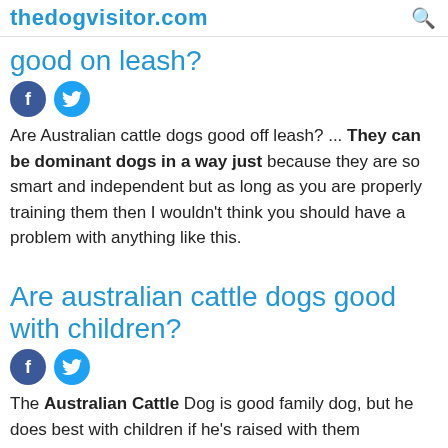thedogvisitor.com
good on leash?
[Figure (other): Facebook and Twitter social share icons]
Are Australian cattle dogs good off leash? ... They can be dominant dogs in a way just because they are so smart and independent but as long as you are properly training them then I wouldn't think you should have a problem with anything like this.
Are australian cattle dogs good with children?
[Figure (other): Facebook and Twitter social share icons]
The Australian Cattle Dog is good family dog, but he does best with children if he's raised with them and knows them as members of his...